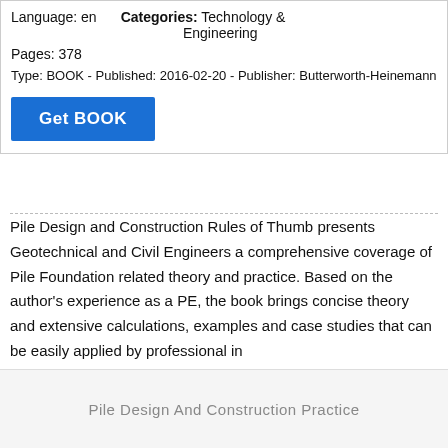Language: en   Categories: Technology & Engineering
Pages: 378
Type: BOOK - Published: 2016-02-20 - Publisher: Butterworth-Heinemann
Get BOOK
Pile Design and Construction Rules of Thumb presents Geotechnical and Civil Engineers a comprehensive coverage of Pile Foundation related theory and practice. Based on the author's experience as a PE, the book brings concise theory and extensive calculations, examples and case studies that can be easily applied by professional in
Pile Design And Construction Practice